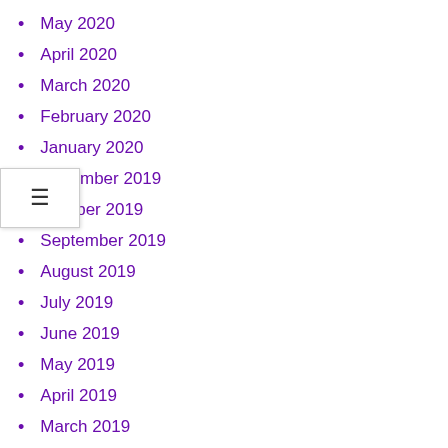May 2020
April 2020
March 2020
February 2020
January 2020
November 2019
October 2019
September 2019
August 2019
July 2019
June 2019
May 2019
April 2019
March 2019
February 2019
January 2019
December 2018
November 2018
September 2018